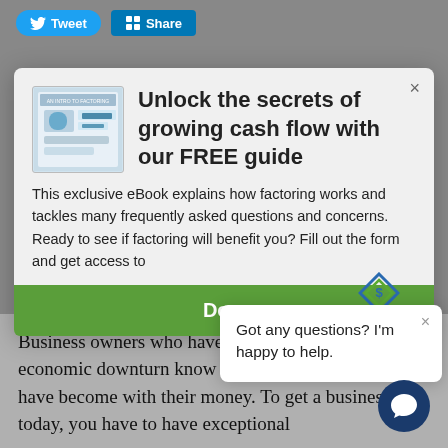[Figure (screenshot): Twitter Tweet button and LinkedIn Share button in social sharing bar]
[Figure (infographic): Modal popup promoting a free eBook guide about growing cash flow through factoring, with book cover image, descriptive text, and download button]
Unlock the secrets of growing cash flow with our FREE guide
This exclusive eBook explains how factoring works and tackles many frequently asked questions and concerns. Ready to see if factoring will benefit you? Fill out the form and get access to
Got any questions? I'm happy to help.
Business owners who have survived the recent economic downturn know firsthand how tight banks have become with their money. To get a business loan today, you have to have exceptional